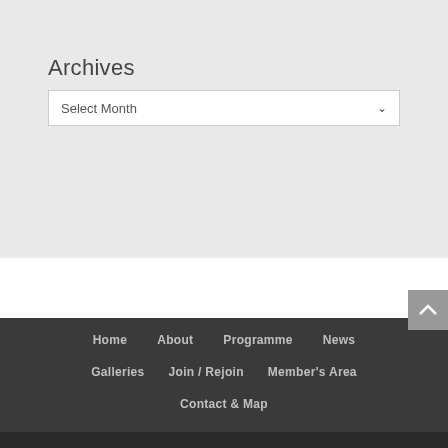Archives
Select Month
Home   About   Programme   News   Galleries   Join / Rejoin   Member's Area   Contact & Map